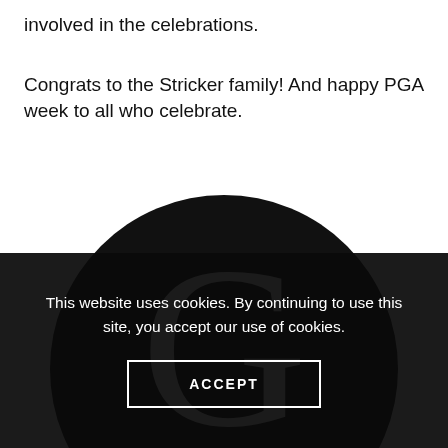involved in the celebrations.
Congrats to the Stricker family! And happy PGA week to all who celebrate.
[Figure (logo): Large circular black logo with a white serif letter G in the center, representing a media publication logo.]
This website uses cookies. By continuing to use this site, you accept our use of cookies.
ACCEPT